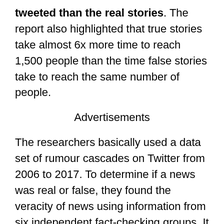tweeted than the real stories. The report also highlighted that true stories take almost 6x more time to reach 1,500 people than the time false stories take to reach the same number of people.
Advertisements
The researchers basically used a data set of rumour cascades on Twitter from 2006 to 2017. To determine if a news was real or false, they found the veracity of news using information from six independent fact-checking groups. It turned out that 126,000 rumours were tweeted by 3 million people more than 4.5 million times. Evidently, falsehood diffused faster and deeper than the truth. The emotional reaction and sentiments of the